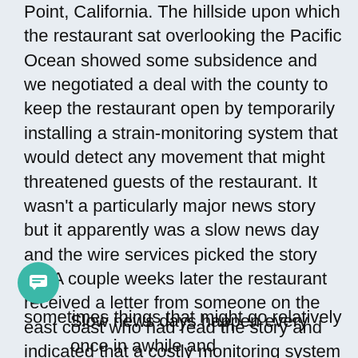Point, California. The hillside upon which the restaurant sat overlooking the Pacific Ocean showed some subsidence and we negotiated a deal with the county to keep the restaurant open by temporarily installing a strain-monitoring system that would detect any movement that might threatened guests of the restaurant. It wasn't a particularly major news story but it apparently was a slow news day and the wire services picked the story up. A couple weeks later the restaurant received a letter from someone on the east coast who had read the story and indicated that a costly monitoring system simply wasn't necessary. If the hill starts to move, the writer said, “Fire the Canon!”
Slow news days happen every once in awhile and sometimes things that might go relatively